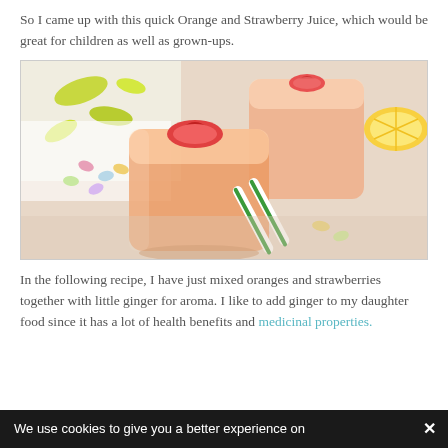So I came up with this quick Orange and Strawberry Juice, which would be great for children as well as grown-ups.
[Figure (photo): Two glasses of orange-pink juice garnished with strawberry slices, surrounded by colorful jelly beans and green striped straws on a white surface with a floral napkin and lemon slice in the background.]
In the following recipe, I have just mixed oranges and strawberries together with little ginger for aroma. I like to add ginger to my daughter food since it has a lot of health benefits and medicinal properties.
We use cookies to give you a better experience on